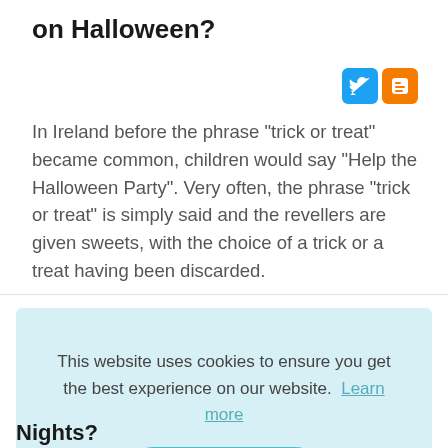on Halloween?
[Figure (other): Twitter and Blogger social sharing icons]
In Ireland before the phrase "trick or treat" became common, children would say "Help the Halloween Party". Very often, the phrase "trick or treat" is simply said and the revellers are given sweets, with the choice of a trick or a treat having been discarded.
This website uses cookies to ensure you get the best experience on our website. Learn more Got it!
Nights?